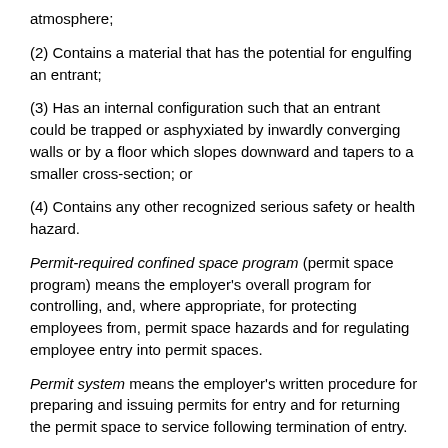atmosphere;
(2) Contains a material that has the potential for engulfing an entrant;
(3) Has an internal configuration such that an entrant could be trapped or asphyxiated by inwardly converging walls or by a floor which slopes downward and tapers to a smaller cross-section; or
(4) Contains any other recognized serious safety or health hazard.
Permit-required confined space program (permit space program) means the employer's overall program for controlling, and, where appropriate, for protecting employees from, permit space hazards and for regulating employee entry into permit spaces.
Permit system means the employer's written procedure for preparing and issuing permits for entry and for returning the permit space to service following termination of entry.
Prohibited condition means any condition in a permit space that is not allowed by the permit during the period when entry is